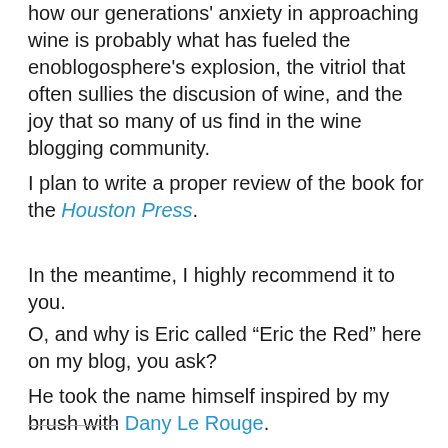how our generations' anxiety in approaching wine is probably what has fueled the enoblogosphere's explosion, the vitriol that often sullies the discusion of wine, and the joy that so many of us find in the wine blogging community.
I plan to write a proper review of the book for the Houston Press.
In the meantime, I highly recommend it to you.
O, and why is Eric called “Eric the Red” here on my blog, you ask?
He took the name himself inspired by my brush with Dany Le Rouge.